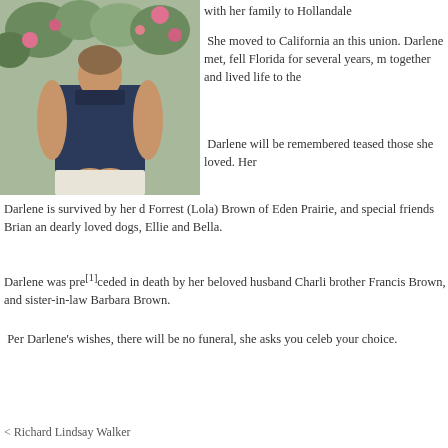[Figure (photo): A woman with short hair sitting outdoors wearing a dark sleeveless top, with flowering bushes in background]
with her family to Hollandale
She moved to California an this union. Darlene met, fell Florida for several years, m together and lived life to the
Darlene will be remembered teased those she loved. Her
Darlene is survived by her d Forrest (Lola) Brown of Eden Prairie, and special friends Brian an dearly loved dogs, Ellie and Bella.
Darlene was pre[1]ceded in death by her beloved husband Charli brother Francis Brown, and sister-in-law Barbara Brown.
Per Darlene's wishes, there will be no funeral, she asks you celeb your choice.
< Richard Lindsay Walker